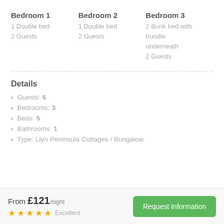Bedroom 1
1 Double bed
2 Guests
Bedroom 2
1 Double bed
2 Guests
Bedroom 3
2 Bunk bed with trundle underneath
2 Guests
Details
Guests: 6
Bedrooms: 3
Beds: 5
Bathrooms: 1
Type: Llyn Peninsula Cottages / Bungalow
From £121/night  ★★★★★ Excellent  Request Information